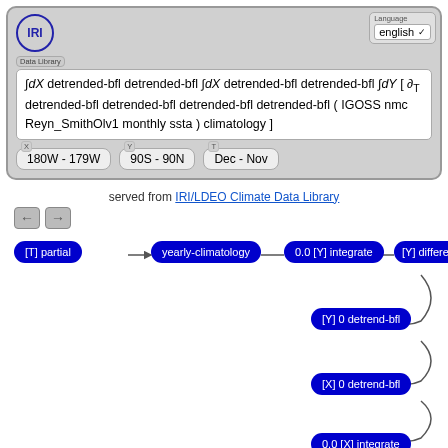[Figure (screenshot): IRI Data Library interface showing a formula with integral and partial derivative notation for detrended-bfl operations on IGOSS nmc Reyn_SmithOlv1 monthly ssta climatology, with coordinate ranges 180W-179W, 90S-90N, Dec-Nov, and language selector set to English]
served from IRI/LDEO Climate Data Library
[Figure (flowchart): Flowchart showing pipeline steps: [T] partial → yearly-climatology → 0.0 [Y] integrate → [Y] differences → [Y] 0 detrend-bfl → [X] 0 detrend-bfl → 0.0 [X] integrate → [X] 0 detrend-bfl, with curved connectors between nodes arranged diagonally]